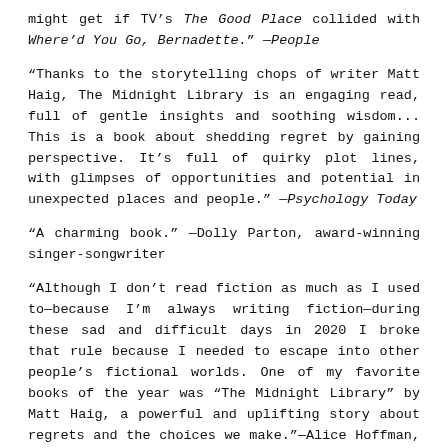might get if TV's The Good Place collided with Where'd You Go, Bernadette." —People
"Thanks to the storytelling chops of writer Matt Haig, The Midnight Library is an engaging read, full of gentle insights and soothing wisdom... This is a book about shedding regret by gaining perspective. It's full of quirky plot lines, with glimpses of opportunities and potential in unexpected places and people." —Psychology Today
"A charming book." —Dolly Parton, award-winning singer-songwriter
"Although I don't read fiction as much as I used to—because I'm always writing fiction—during these sad and difficult days in 2020 I broke that rule because I needed to escape into other people's fictional worlds. One of my favorite books of the year was "The Midnight Library" by Matt Haig, a powerful and uplifting story about regrets and the choices we make."—Alice Hoffman, author of Magic Lessons and Practical Magic